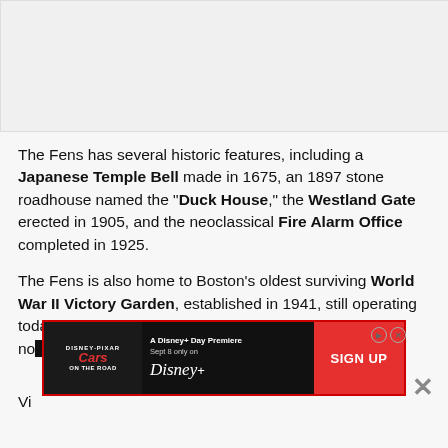[Figure (photo): Gray/white image placeholder area at top of page]
The Fens has several historic features, including a Japanese Temple Bell made in 1675, an 1897 stone roadhouse named the "Duck House," the Westland Gate erected in 1905, and the neoclassical Fire Alarm Office completed in 1925.
The Fens is also home to Boston's oldest surviving World War II Victory Garden, established in 1941, still operating today as a community garden in the no[rtheast corner of the park near] m[ain] Street. Vi[ctoria...]
[Figure (screenshot): Disney Pixar Cars On The Road advertisement banner — A Disney+ Day Premiere Sept 8 only on Disney+, with SIGN UP button]